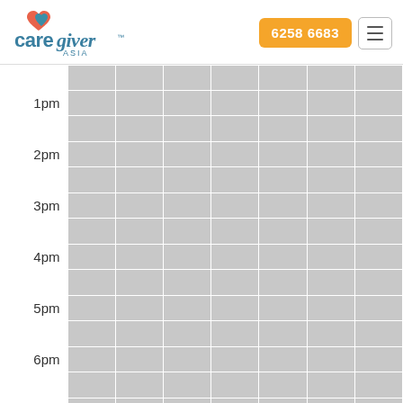[Figure (logo): CareGiver Asia logo with orange and teal heart icon]
6258 6683
[Figure (other): Hamburger menu icon button]
|  |  |  |  |  |  |  |  |
| --- | --- | --- | --- | --- | --- | --- | --- |
| 1pm |  |  |  |  |  |  |  |
|  |  |  |  |  |  |  |  |
| 2pm |  |  |  |  |  |  |  |
|  |  |  |  |  |  |  |  |
| 3pm |  |  |  |  |  |  |  |
|  |  |  |  |  |  |  |  |
| 4pm |  |  |  |  |  |  |  |
|  |  |  |  |  |  |  |  |
| 5pm |  |  |  |  |  |  |  |
|  |  |  |  |  |  |  |  |
| 6pm |  |  |  |  |  |  |  |
|  |  |  |  |  |  |  |  |
| 7 |  |  |  |  |  |  |  |